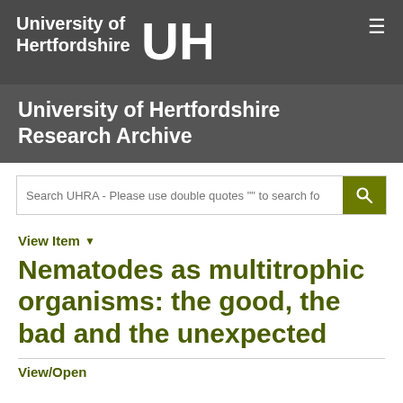University of Hertfordshire UH
University of Hertfordshire Research Archive
Search UHRA - Please use double quotes "" to search fo
View Item
Nematodes as multitrophic organisms: the good, the bad and the unexpected
View/Open